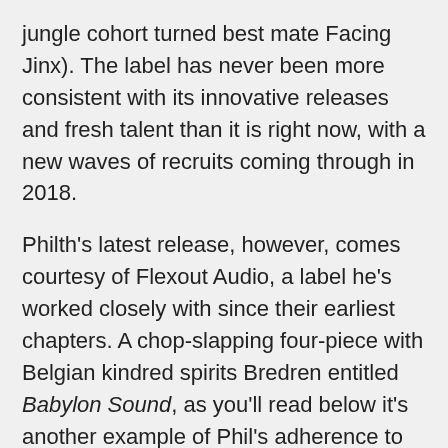jungle cohort turned best mate Facing Jinx). The label has never been more consistent with its innovative releases and fresh talent than it is right now, with a new waves of recruits coming through in 2018.
Philth's latest release, however, comes courtesy of Flexout Audio, a label he's worked closely with since their earliest chapters. A chop-slapping four-piece with Belgian kindred spirits Bredren entitled Babylon Sound, as you'll read below it's another example of Phil's adherence to the path: having a vision, sticking to it, realising it.
This year there have been many other examples of Phil's resolute approach to the game. His Synapses 1 EP is a full-flavoured assault from all sides of the genre that stretches from rolling orchestral drama (Unstable with Wreckless) to Fats-adorned sci-fi machine soul while his second Phil:osophy EP (with Phil Tangent) dives deep into the most